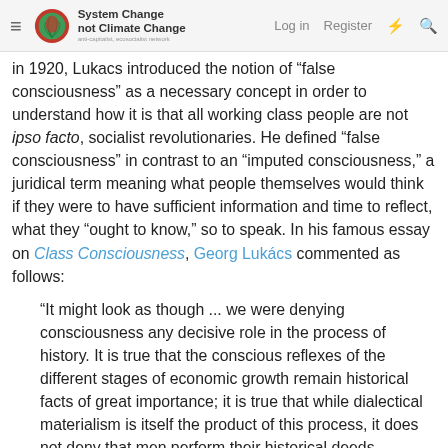[Figure (logo): System Change not Climate Change website header with hamburger menu, green leaf logo, and navigation links (Log in, Register) plus icons]
in 1920, Lukacs introduced the notion of 'false consciousness' as a necessary concept in order to understand how it is that all working class people are not ipso facto, socialist revolutionaries. He defined "false consciousness" in contrast to an "imputed consciousness," a juridical term meaning what people themselves would think if they were to have sufficient information and time to reflect, what they "ought to know," so to speak. In his famous essay on Class Consciousness, Georg Lukács commented as follows:
“It might look as though ... we were denying consciousness any decisive role in the process of history. It is true that the conscious reflexes of the different stages of economic growth remain historical facts of great importance; it is true that while dialectical materialism is itself the product of this process, it does not deny that men perform their historical deeds themselves and that they do so consciously. But as Engels emphasises in a letter to Mehring, this consciousness is false. However, the dialectical method does not permit us simply to proclaim the ‘falseness’ of this consciousness and